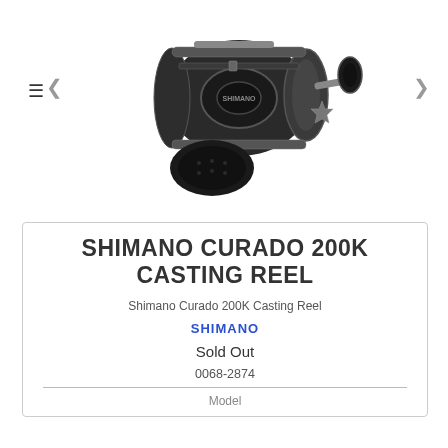[Figure (photo): A Shimano Curado 200K baitcasting fishing reel photographed on white background, shown at angle. Black and silver reel with ergonomic handle grip.]
SHIMANO CURADO 200K CASTING REEL
Shimano Curado 200K Casting Reel
SHIMANO
Sold Out
0068-2874
Model